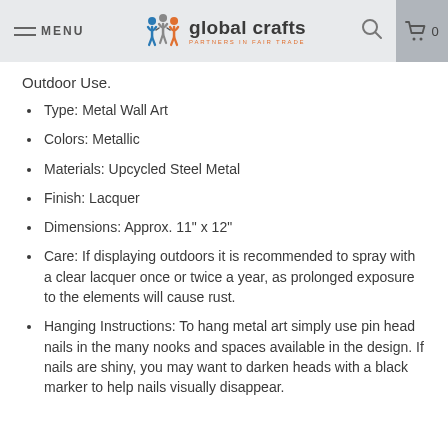MENU | global crafts PARTNERS IN FAIR TRADE | [search] [cart] 0
Outdoor Use.
Type: Metal Wall Art
Colors: Metallic
Materials: Upcycled Steel Metal
Finish: Lacquer
Dimensions: Approx. 11" x 12"
Care: If displaying outdoors it is recommended to spray with a clear lacquer once or twice a year, as prolonged exposure to the elements will cause rust.
Hanging Instructions: To hang metal art simply use pin head nails in the many nooks and spaces available in the design. If nails are shiny, you may want to darken heads with a black marker to help nails visually disappear.